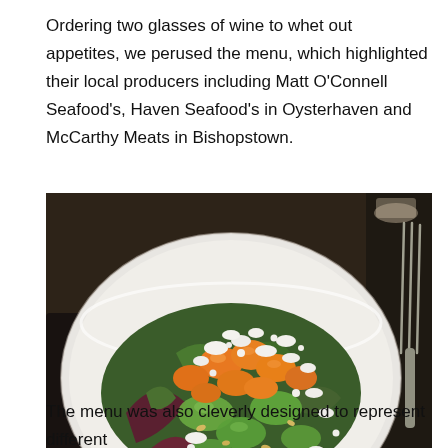Ordering two glasses of wine to whet out appetites, we perused the menu, which highlighted their local producers including Matt O'Connell Seafood's, Haven Seafood's in Oysterhaven and McCarthy Meats in Bishopstown.
[Figure (photo): A white plate with a salad featuring orange mandarin segments, green grapes, crumbled white feta cheese, mixed greens, and pine nuts, served on a dark restaurant table with a fork visible in the background.]
The menu was also cleverly designed to represent different